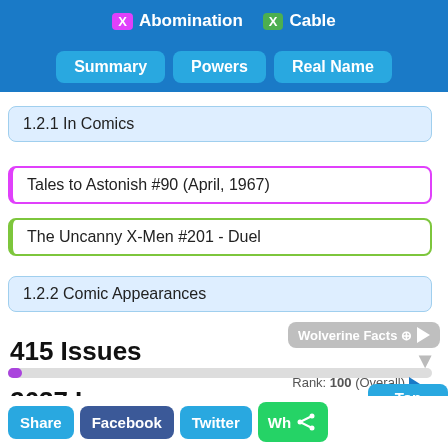X Abomination   X Cable
Summary | Powers | Real Name
1.2.1 In Comics
Tales to Astonish #90 (April, 1967)
The Uncanny X-Men #201 - Duel
1.2.2 Comic Appearances
Wolverine Facts
415 Issues
Rank: 100 (Overall)
2637 Issues
Rank: 46 (Overall)
Top
ADD Compare
Chick Facts
964 (Wildcat Facts)
ADD
Share | Facebook | Twitter | Wh...